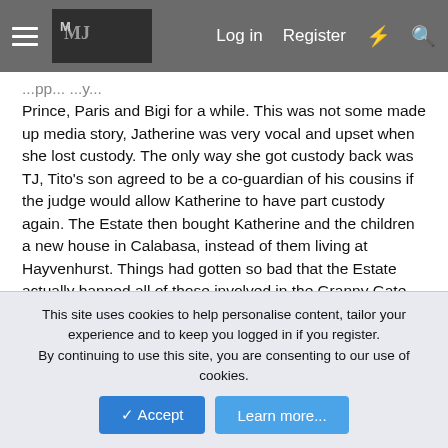Log in  Register
Prince, Paris and Bigi for a while. This was not some made up media story, Jatherine was very vocal and upset when she lost custody. The only way she got custody back was TJ, Tito's son agreed to be a co-guardian of his cousins if the judge would allow Katherine to have part custody again. The Estate then bought Katherine and the children a new house in Calabasa, instead of them living at Hayvenhurst. Things had gotten so bad that the Estate actually banned all of those involved in the Granny Gate from coming to the new house. Jermaine was going around to the media saying" This Is My Mother's house, and they(the Estate) can't keep us from coming. The Estate did keep them from coming, because the bottomline is Michael's family was angry that he didn't leave his money to them, instead of his own children. Michael's children didn't have anything to do
This site uses cookies to help personalise content, tailor your experience and to keep you logged in if you register.
By continuing to use this site, you are consenting to our use of cookies.